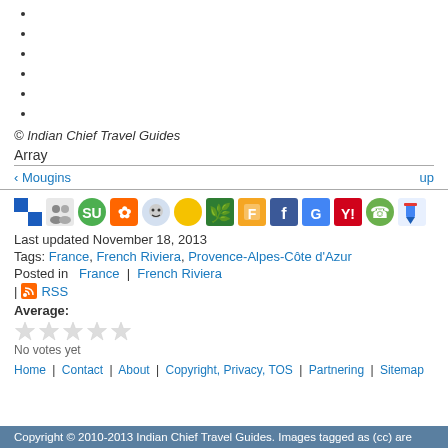© Indian Chief Travel Guides
Array
‹ Mougins    up
[Figure (screenshot): Row of social media sharing icons including Delicious, various bookmarking and social network icons]
Last updated November 18, 2013
Tags: France, French Riviera, Provence-Alpes-Côte d'Azur
Posted in   France  |  French Riviera
| RSS
Average:
No votes yet
Home | Contact | About | Copyright, Privacy, TOS | Partnering | Sitemap
Copyright © 2010-2013 Indian Chief Travel Guides. Images tagged as (cc) are